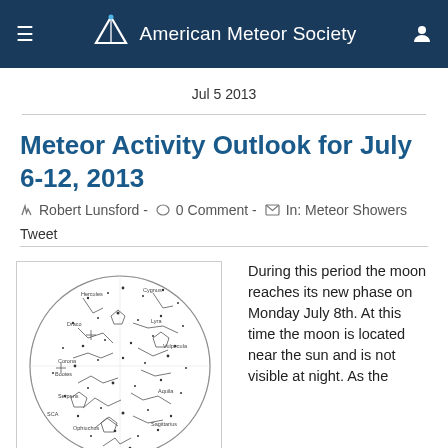American Meteor Society
Jul 5 2013
Meteor Activity Outlook for July 6-12, 2013
Robert Lunsford - 0 Comment - In: Meteor Showers
Tweet
[Figure (illustration): Circular star map showing constellations visible during the meteor shower period, with constellation lines and labels on a white background.]
During this period the moon reaches its new phase on Monday July 8th. At this time the moon is located near the sun and is not visible at night. As the